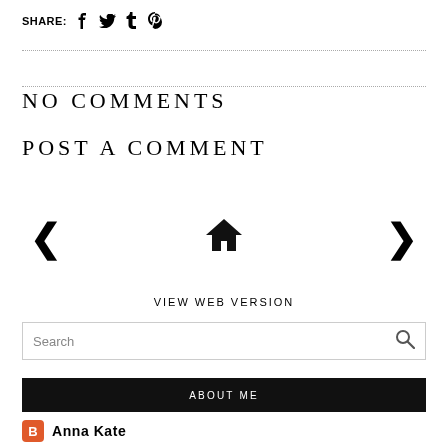SHARE: f t t p
NO COMMENTS
POST A COMMENT
< home >
VIEW WEB VERSION
Search
ABOUT ME
Anna Kate